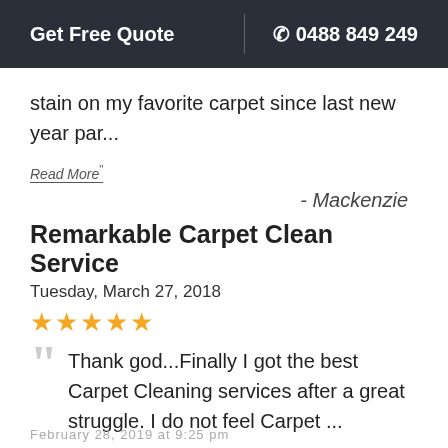Get Free Quote | ☎ 0488 849 249
stain on my favorite carpet since last new year par...
Read More"
- Mackenzie
Remarkable Carpet Clean Service
Tuesday, March 27, 2018
★★★★★
Thank god...Finally I got the best Carpet Cleaning services after a great struggle. I do not feel Carpet ...
Read More"
- Savannah
February 28, 2019 at 9:25 pm